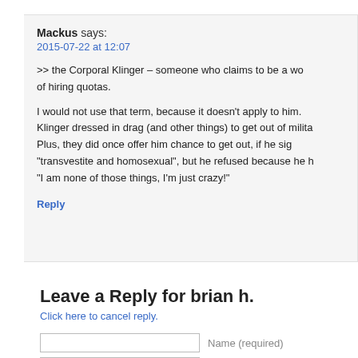Mackus says:
2015-07-22 at 12:07

>> the Corporal Klinger – someone who claims to be a wo... of hiring quotas.

I would not use that term, because it doesn't apply to him. Klinger dressed in drag (and other things) to get out of milita... Plus, they did once offer him chance to get out, if he sig... "transvestite and homosexual", but he refused because he h... "I am none of those things, I'm just crazy!"
Reply
Leave a Reply for brian h.
Click here to cancel reply.